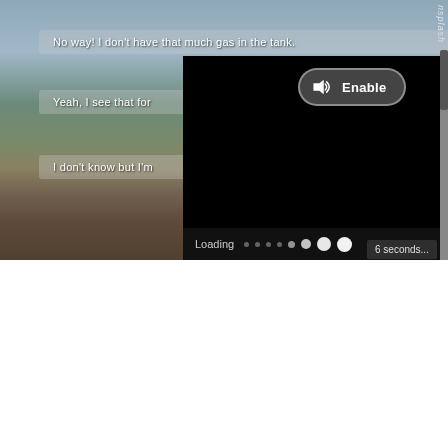[Figure (screenshot): Screenshot of a language learning or subtitle application showing a background photo of two people on a pier/dock with ocean and mountains. Three subtitle boxes display dialogue lines. A black overlay panel shows an audio Enable button and a Loading progress indicator. A '6 seconds...' countdown badge is visible.]
No way! I don't have that much gas in the tank.
Yeah, I see that for
I don't know but I'm
Enable
Loading
6 seconds...